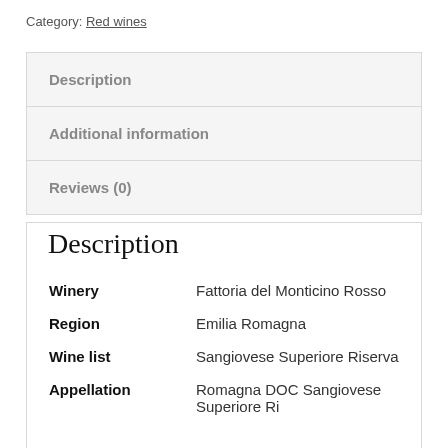Category: Red wines
| Description |
| Additional information |
| Reviews (0) |
Description
|  |  |
| --- | --- |
| Winery | Fattoria del Monticino Rosso |
| Region | Emilia Romagna |
| Wine list | Sangiovese Superiore Riserva |
| Appellation | Romagna DOC Sangiovese Superiore Ri… |